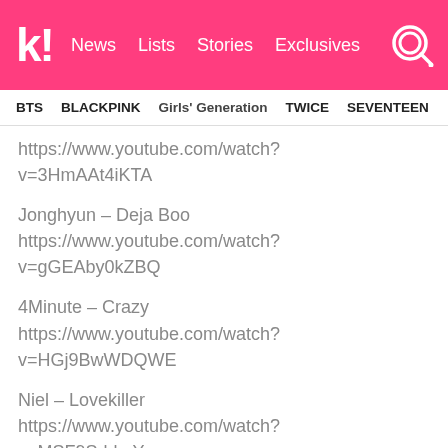k! News Lists Stories Exclusives
BTS BLACKPINK Girls' Generation TWICE SEVENTEEN
https://www.youtube.com/watch?v=3HmAAt4iKTA
Jonghyun – Deja Boo https://www.youtube.com/watch?v=gGEAby0kZBQ
4Minute – Crazy https://www.youtube.com/watch?v=HGj9BwWDQWE
Niel – Lovekiller https://www.youtube.com/watch?v=MSF9SdrkgYw